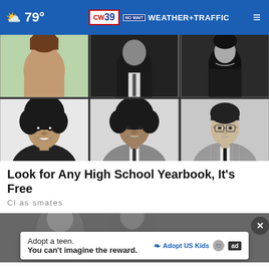79° | CW39 NO WAIT WEATHER+TRAFFIC
[Figure (photo): A 2x3 grid of black-and-white high school yearbook photos showing six students from what appears to be the 1980s. Top row: three partial/cropped photos. Bottom row: a young Black woman smiling, a young Black man in a suit and tie, a young white man with glasses and a plaid jacket with tie.]
Look for Any High School Yearbook, It's Free
Classmates
[Figure (photo): Partial photo of people, mostly obscured by an advertisement overlay.]
Adopt a teen. You can't imagine the reward. Adopt US Kids [ad]